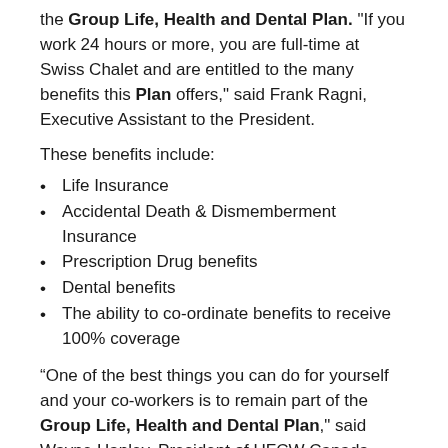the Group Life, Health and Dental Plan. "If you work 24 hours or more, you are full-time at Swiss Chalet and are entitled to the many benefits this Plan offers," said Frank Ragni, Executive Assistant to the President.
These benefits include:
Life Insurance
Accidental Death & Dismemberment Insurance
Prescription Drug benefits
Dental benefits
The ability to co-ordinate benefits to receive 100% coverage
“One of the best things you can do for yourself and your co-workers is to remain part of the Group Life, Health and Dental Plan,” said Wayne Hanley, President of UFCW Canada Local 1006A. “This is a plan of tremendous benefit to our members and their families.”